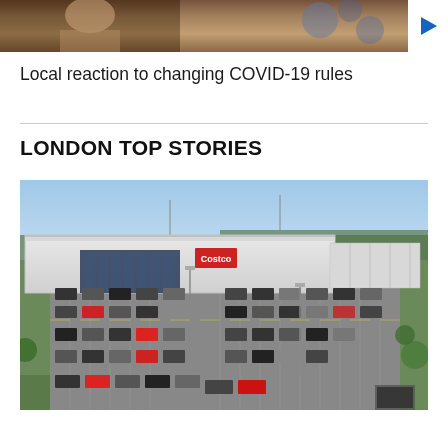[Figure (photo): Cropped top portion of a photo showing people, with a blue play button triangle on the right side]
Local reaction to changing COVID-19 rules
LONDON TOP STORIES
[Figure (photo): Aerial photo of a large warehouse retail store (Costco) with a large parking lot filled with cars, surrounded by trees and open sky]